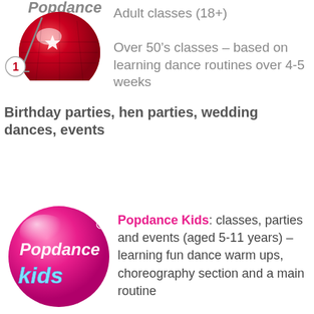[Figure (logo): Popdance logo with red disco ball, partially visible at top of page]
Adult classes (18+)
Over 50’s classes – based on learning dance routines over 4-5 weeks
Birthday parties, hen parties, wedding dances, events
[Figure (logo): Popdance Kids logo: pink glossy bubble with script text]
Popdance Kids: classes, parties and events (aged 5-11 years) – learning fun dance warm ups, choreography section and a main routine